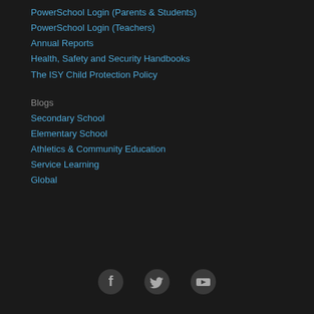PowerSchool Login (Parents & Students)
PowerSchool Login (Teachers)
Annual Reports
Health, Safety and Security Handbooks
The ISY Child Protection Policy
Blogs
Secondary School
Elementary School
Athletics & Community Education
Service Learning
Global
[Figure (illustration): Social media icons: Facebook, Twitter, YouTube in gray circles]